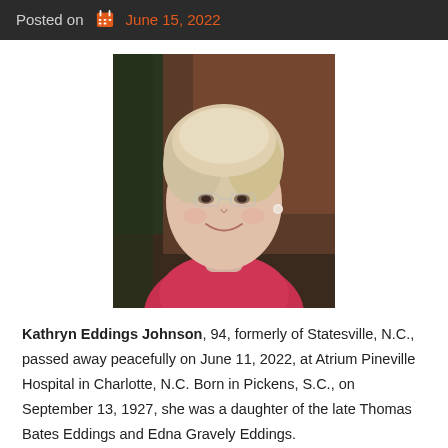Posted on  June 15, 2022
[Figure (photo): Portrait photo of an elderly woman with short blonde/white hair, smiling, wearing a pink/red top, against a dark background.]
Kathryn Eddings Johnson, 94, formerly of Statesville, N.C., passed away peacefully on June 11, 2022, at Atrium Pineville Hospital in Charlotte, N.C. Born in Pickens, S.C., on September 13, 1927, she was a daughter of the late Thomas Bates Eddings and Edna Gravely Eddings.
She was a member of First Baptist Church of Statesville,